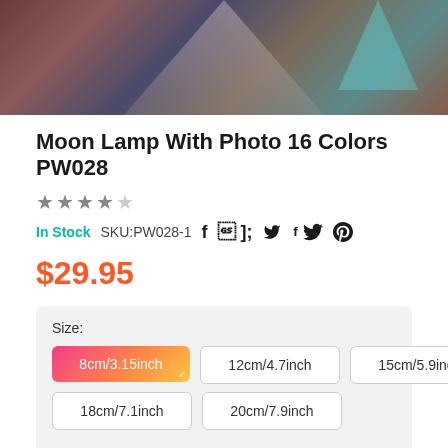[Figure (photo): Product photo showing decorative geometric lamp backdrop with dark red, teal, and neutral tones in a triangular pattern]
Moon Lamp With Photo 16 Colors PW028
★★★★★
In Stock   SKU:PW028-1   f  Twitter  Pinterest
$29.95
Size:
8cm/3.15inch
12cm/4.7inch
15cm/5.9inch
18cm/7.1inch
20cm/7.9inch
* Upload A Photo :
Select a Picture